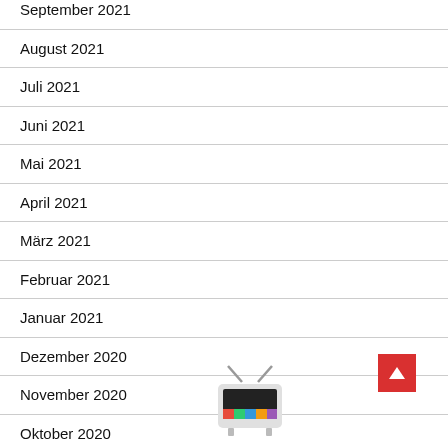September 2021
August 2021
Juli 2021
Juni 2021
Mai 2021
April 2021
März 2021
Februar 2021
Januar 2021
Dezember 2020
November 2020
Oktober 2020
[Figure (illustration): Retro TV logo illustration at bottom of page]
[Figure (other): Red back-to-top arrow button]